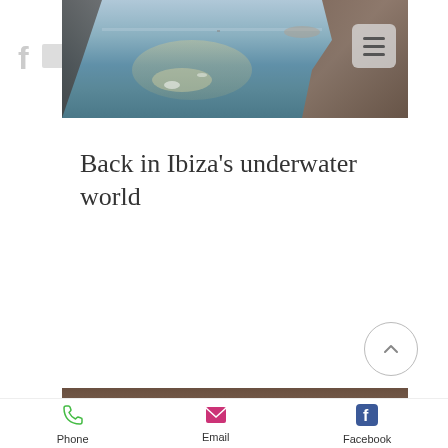[Figure (photo): Hero photograph of rocky coastline with calm sea water reflecting sunlight, taken at dusk or low sun angle. Rocky cliffs visible on right side.]
Back in Ibiza's underwater world
[Figure (photo): Bottom strip photo showing seashells on sandy/rocky ground, brownish tones.]
Phone  Email  Facebook